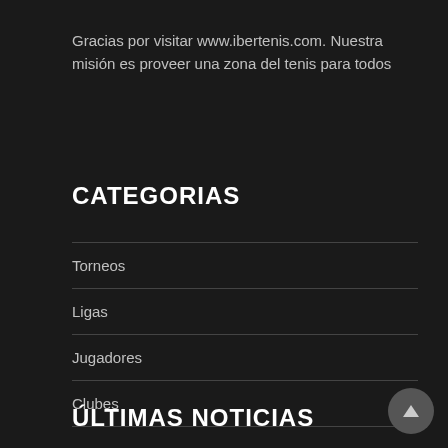Gracias por visitar www.ibertenis.com. Nuestra misión es proveer una zona del tenis para todos
CATEGORIAS
Torneos
Ligas
Jugadores
Clubes
ÚLTIMAS NOTICIAS